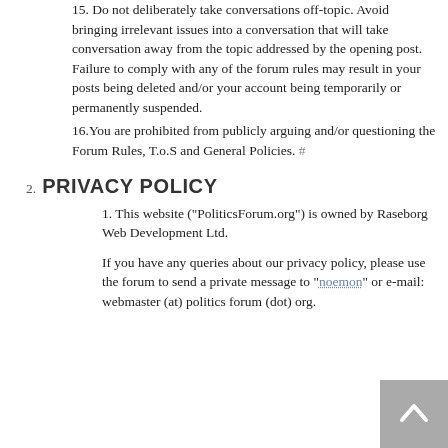15. Do not deliberately take conversations off-topic. Avoid bringing irrelevant issues into a conversation that will take conversation away from the topic addressed by the opening post. Failure to comply with any of the forum rules may result in your posts being deleted and/or your account being temporarily or permanently suspended.
16. You are prohibited from publicly arguing and/or questioning the Forum Rules, T.o.S and General Policies. #
2. PRIVACY POLICY
1. This website ("PoliticsForum.org") is owned by Raseborg Web Development Ltd.
If you have any queries about our privacy policy, please use the forum to send a private message to "noemon" or e-mail: webmaster (at) politics forum (dot) org.